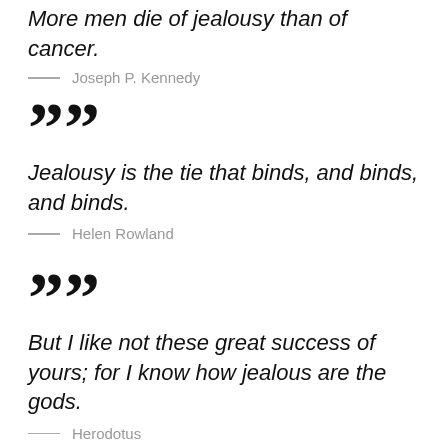More men die of jealousy than of cancer.
— Joseph P. Kennedy
””
Jealousy is the tie that binds, and binds, and binds.
— Helen Rowland
””
But I like not these great success of yours; for I know how jealous are the gods.
— Herodotus
””